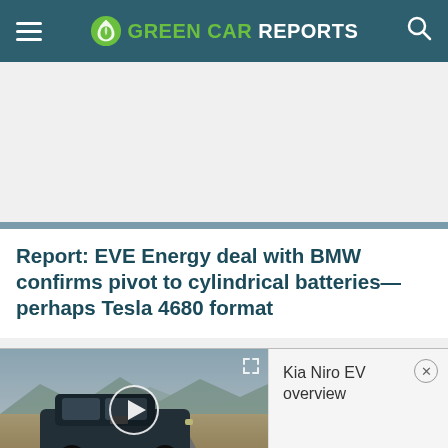GREEN CAR REPORTS
Report: EVE Energy deal with BMW confirms pivot to cylindrical batteries—perhaps Tesla 4680 format
[Figure (screenshot): Video thumbnail showing Kia Niro EV driving on a desert road with a play button overlay, and a panel reading 'Kia Niro EV overview' with a close button]